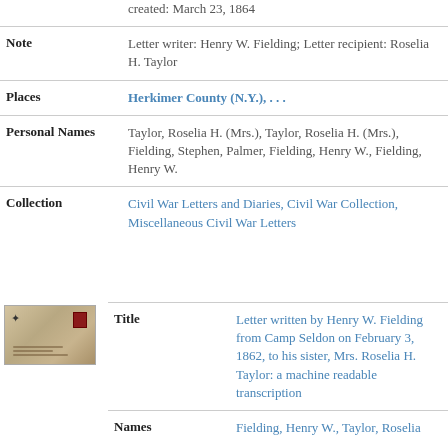| Field | Value |
| --- | --- |
|  | created: March 23, 1864 |
| Note | Letter writer: Henry W. Fielding; Letter recipient: Roselia H. Taylor |
| Places | Herkimer County (N.Y.), . . . |
| Personal Names | Taylor, Roselia H. (Mrs.), Taylor, Roselia H. (Mrs.), Fielding, Stephen, Palmer, Fielding, Henry W., Fielding, Henry W. |
| Collection | Civil War Letters and Diaries, Civil War Collection, Miscellaneous Civil War Letters |
[Figure (photo): Small thumbnail image of an envelope or letter document with a red stamp in the upper right corner]
| Field | Value |
| --- | --- |
| Title | Letter written by Henry W. Fielding from Camp Seldon on February 3, 1862, to his sister, Mrs. Roselia H. Taylor: a machine readable transcription |
| Names | Fielding, Henry W., Taylor, Roselia |